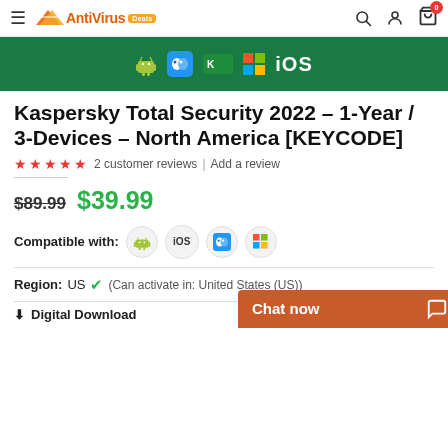AntiVirus Deals
[Figure (screenshot): Product banner showing Kaspersky Total Security compatible device icons on a dark green background]
Kaspersky Total Security 2022 – 1-Year / 3-Devices – North America [KEYCODE]
★★★★★ 2 customer reviews | Add a review
$89.99 $39.99
Compatible with: Android iOS macOS Windows
Region: US ✓ (Can activate in: United States (US))
⬇ Digital Download